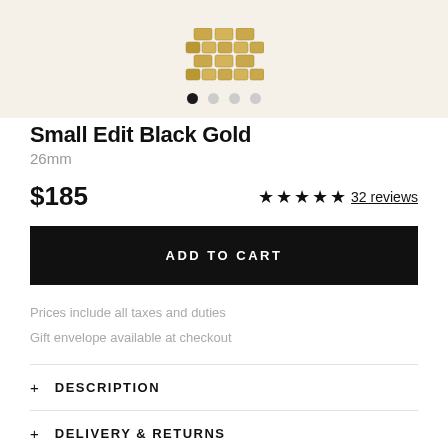[Figure (photo): Partial view of a gold watch bracelet/band on a beige/cream background with four navigation dots below it (first dot is active/black, remaining three are grey)]
Small Edit Black Gold
26mm
$185
★★★★★ 32 reviews
ADD TO CART
Prices include all taxes and duties
Gift envelope available at checkout
+ DESCRIPTION
+ DELIVERY & RETURNS